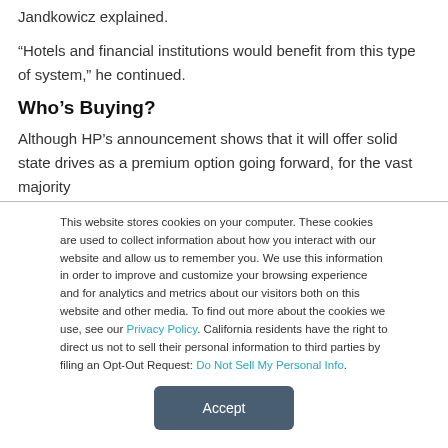Jandkowicz explained.
“Hotels and financial institutions would benefit from this type of system,” he continued.
Who’s Buying?
Although HP’s announcement shows that it will offer solid state drives as a premium option going forward, for the vast majority
This website stores cookies on your computer. These cookies are used to collect information about how you interact with our website and allow us to remember you. We use this information in order to improve and customize your browsing experience and for analytics and metrics about our visitors both on this website and other media. To find out more about the cookies we use, see our Privacy Policy. California residents have the right to direct us not to sell their personal information to third parties by filing an Opt-Out Request: Do Not Sell My Personal Info.
Accept